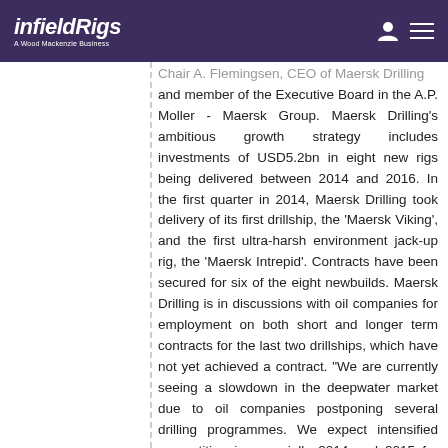infieldRigs – A Wood Mackenzie Business
Chair A. Flemingsen, CEO of Maersk Drilling and member of the Executive Board in the A.P. Moller - Maersk Group. Maersk Drilling's ambitious growth strategy includes investments of USD5.2bn in eight new rigs being delivered between 2014 and 2016. In the first quarter in 2014, Maersk Drilling took delivery of its first drillship, the 'Maersk Viking', and the first ultra-harsh environment jack-up rig, the 'Maersk Intrepid'. Contracts have been secured for six of the eight newbuilds. Maersk Drilling is in discussions with oil companies for employment on both short and longer term contracts for the last two drillships, which have not yet achieved a contract. "We are currently seeing a slowdown in the deepwater market due to oil companies postponing several drilling programmes. We expect intensified competition in especially 2014 and 2015 for longer term jobs. However, there are still many short-term jobs, which will help absorb the supply. Despite the short term challenges, we